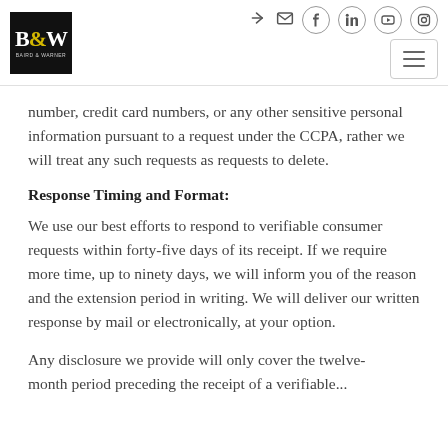B&W logo and navigation icons
number, credit card numbers, or any other sensitive personal information pursuant to a request under the CCPA, rather we will treat any such requests as requests to delete.
Response Timing and Format:
We use our best efforts to respond to verifiable consumer requests within forty-five days of its receipt. If we require more time, up to ninety days, we will inform you of the reason and the extension period in writing. We will deliver our written response by mail or electronically, at your option.
Any disclosure we provide will only cover the twelve-month period preceding the receipt of a verifiable...